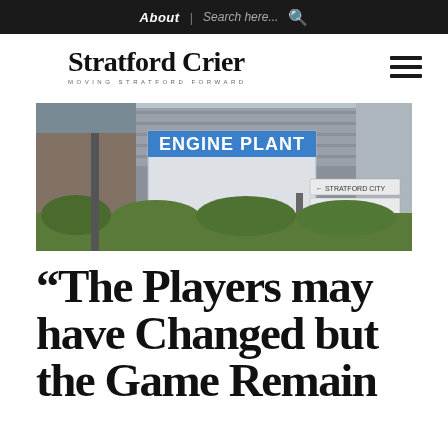About | Search here...
Stratford Crier — MOVING STRATFORD FORWARD
[Figure (photo): Photograph of an engine plant building with a large sign reading 'ENGINE PLANT' and directional signs pointing to Stratford City, Solaca Park, and Short Beach]
“The Players may have Changed but the Game Remains